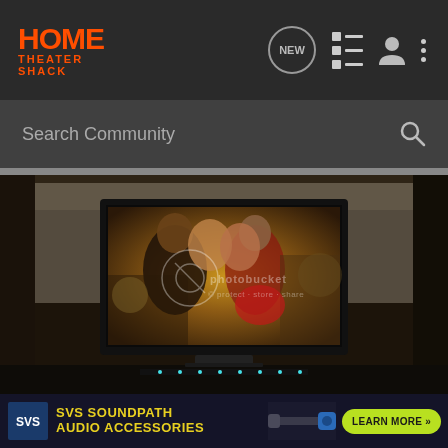[Figure (screenshot): Home Theater Shack website header with orange logo on dark background, navigation icons including NEW speech bubble, list icon, person icon, and three-dot menu]
[Figure (screenshot): Search Community search bar on dark gray background with magnifying glass icon]
[Figure (photo): Home theater setup photo showing a large flat-panel television displaying a romantic movie scene of two people kissing in costume, with a Photobucket watermark overlay. Room has dark walls and the TV stands on a surface.]
[Figure (screenshot): SVS SoundPath Audio Accessories advertisement banner with yellow text on dark blue/black background, SVS logo, cable photo, and green LEARN MORE button]